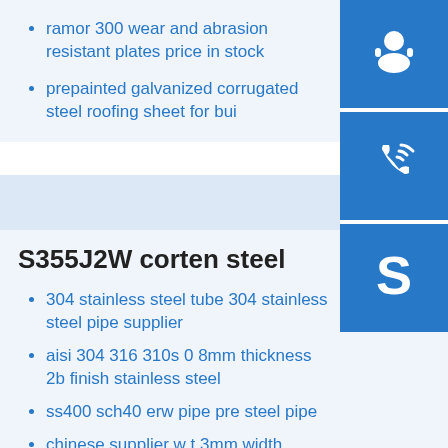ramor 300 wear and abrasion resistant plates price in stock
prepainted galvanized corrugated steel roofing sheet for bui
[Figure (infographic): Blue square button with white headset/customer support icon]
[Figure (infographic): Blue square button with white phone/call icon]
[Figure (infographic): Blue square button with white Skype icon]
S355J2W corten steel
304 stainless steel tube 304 stainless steel pipe supplier
aisi 304 316 310s 0 8mm thickness 2b finish stainless steel
ss400 sch40 erw pipe pre steel pipe
chinese supplier w t 3mm width 1000mm hot rolled sheet weigh